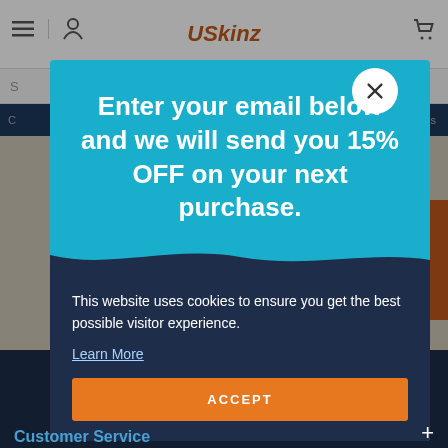[Figure (screenshot): USkinz website header with logo, navigation icons, search bar, and navigation links row, partially visible behind modal overlays.]
Enter your email below and we will send you 15% OFF on your next purchase.
This website uses cookies to ensure you get the best possible visitor experience.
Learn More
ACCEPT
Customer Service